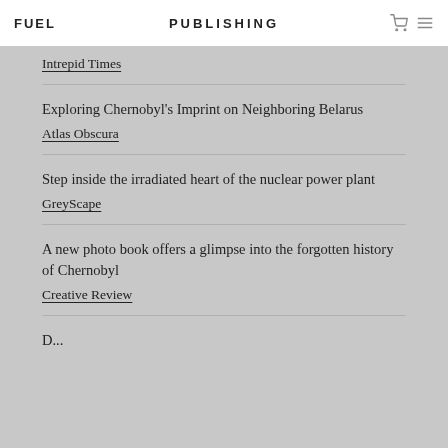FUEL PUBLISHING
Intrepid Times
Exploring Chernobyl's Imprint on Neighboring Belarus
Atlas Obscura
Step inside the irradiated heart of the nuclear power plant
GreyScape
A new photo book offers a glimpse into the forgotten history of Chernobyl
Creative Review
D...